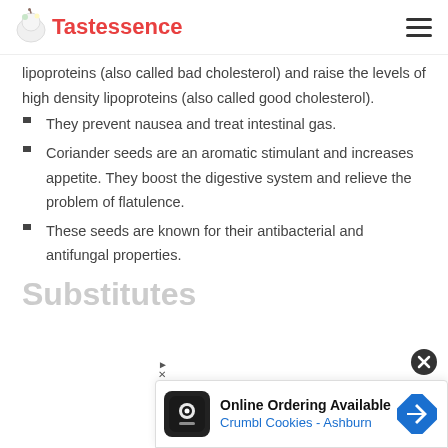Tastessence
lipoproteins (also called bad cholesterol) and raise the levels of high density lipoproteins (also called good cholesterol).
They prevent nausea and treat intestinal gas.
Coriander seeds are an aromatic stimulant and increases appetite. They boost the digestive system and relieve the problem of flatulence.
These seeds are known for their antibacterial and antifungal properties.
Substitutes
[Figure (screenshot): Advertisement banner: Online Ordering Available - Crumbl Cookies - Ashburn, with app icon and direction arrow logo]